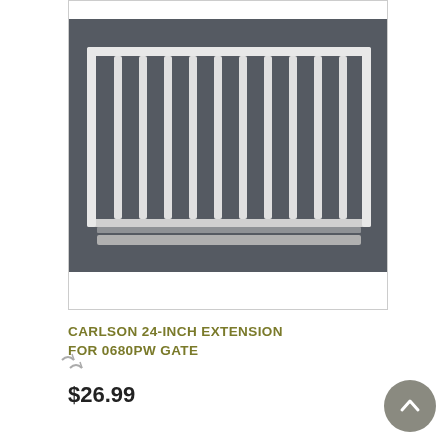[Figure (photo): Product photo of a white metal gate extension with vertical bars on a dark gray background, shown within a product listing image box.]
CARLSON 24-INCH EXTENSION FOR 0680PW GATE
$26.99